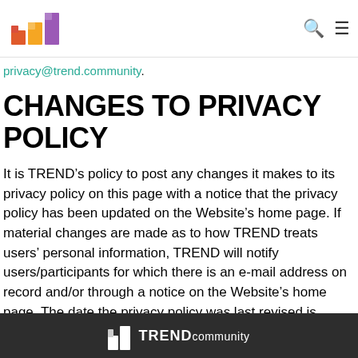[TREND logo] [search icon] [menu icon]
privacy@trend.community.
CHANGES TO PRIVACY POLICY
It is TREND’s policy to post any changes it makes to its privacy policy on this page with a notice that the privacy policy has been updated on the Website’s home page. If material changes are made as to how TREND treats users’ personal information, TREND will notify users/participants for which there is an e-mail address on record and/or through a notice on the Website’s home page. The date the privacy policy was last revised is identified at the top of the page.
TREND community logo